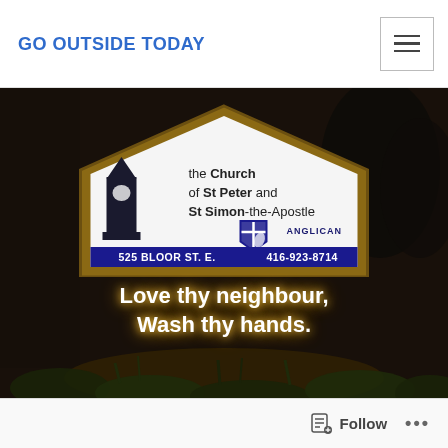GO OUTSIDE TODAY
[Figure (photo): Nighttime photograph of the illuminated church sign for the Church of St Peter and St Simon-the-Apostle Anglican, located at 525 Bloor St. E., phone 416-923-8714. Below the church sign a marquee reads: Love thy neighbour, Wash thy hands.]
Follow   •••